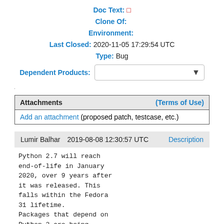Doc Text: □
Clone Of:
Environment:
Last Closed: 2020-11-05 17:29:54 UTC
Type: Bug
Dependent Products:
| Attachments | (Terms of Use) |
| --- | --- |
| Add an attachment (proposed patch, testcase, etc.) |  |
Lumir Balhar   2019-08-08 12:30:57 UTC   Description
Python 2.7 will reach
end-of-life in January
2020, over 9 years after
it was released. This
falls within the Fedora
31 lifetime.
Packages that depend on
Python 2 are being